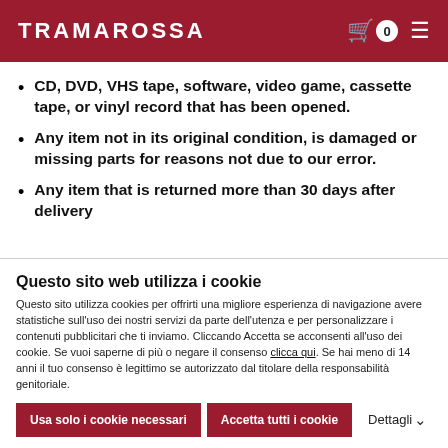TRAMAROSSA
CD, DVD, VHS tape, software, video game, cassette tape, or vinyl record that has been opened.
Any item not in its original condition, is damaged or missing parts for reasons not due to our error.
Any item that is returned more than 30 days after delivery
Refunds
Questo sito web utilizza i cookie
Questo sito utilizza cookies per offrirti una migliore esperienza di navigazione avere statistiche sull'uso dei nostri servizi da parte dell'utenza e per personalizzare i contenuti pubblicitari che ti inviamo. Cliccando Accetta se acconsenti all'uso dei cookie. Se vuoi saperne di più o negare il consenso clicca qui. Se hai meno di 14 anni il tuo consenso è legittimo se autorizzato dal titolare della responsabilità genitoriale.
Usa solo i cookie necessari | Accetta tutti i cookie | Dettagli